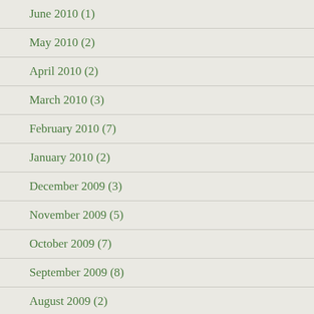June 2010 (1)
May 2010 (2)
April 2010 (2)
March 2010 (3)
February 2010 (7)
January 2010 (2)
December 2009 (3)
November 2009 (5)
October 2009 (7)
September 2009 (8)
August 2009 (2)